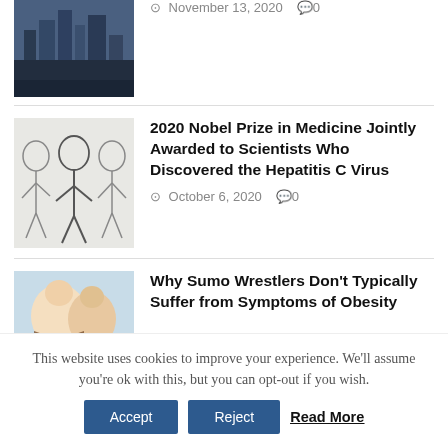[Figure (photo): Thumbnail photo of a big city skyline (top, partially visible)]
November 13, 2020   0
[Figure (illustration): Illustration/sketch of scientists - Nobel Prize in Medicine]
2020 Nobel Prize in Medicine Jointly Awarded to Scientists Who Discovered the Hepatitis C Virus
October 6, 2020   0
[Figure (illustration): Japanese artwork depicting sumo wrestlers]
Why Sumo Wrestlers Don’t Typically Suffer from Symptoms of Obesity
This website uses cookies to improve your experience. We’ll assume you’re ok with this, but you can opt-out if you wish.